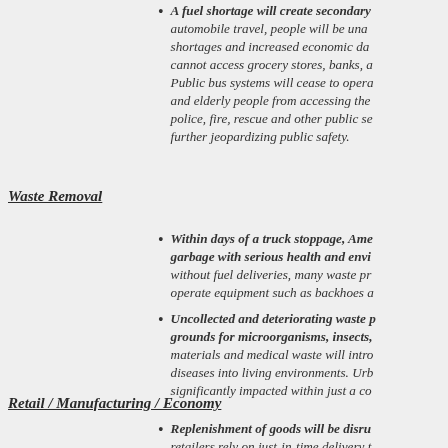A fuel shortage will create secondary effects on automobile travel, people will be unable to... shortages and increased economic damage... cannot access grocery stores, banks, and other services. Public bus systems will cease to operate... and elderly people from accessing the services... police, fire, rescue and other public services... further jeopardizing public safety.
Waste Removal
Within days of a truck stoppage, America's cities will be inundated with garbage with serious health and environmental consequences. Without fuel deliveries, many waste processing facilities cannot operate equipment such as backhoes and...
Uncollected and deteriorating waste provides breeding grounds for microorganisms, insects, and rodents. Hazardous materials and medical waste will introduce pathogens and diseases into living environments. Urban areas would be significantly impacted within just a couple...
Retail / Manufacturing / Economy
Replenishment of goods will be disrupted... retailers rely on just-in-time delivery to... possible. Similarly, the communities...